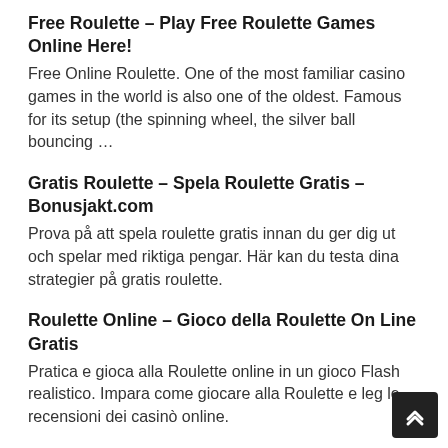Free Roulette – Play Free Roulette Games Online Here!
Free Online Roulette. One of the most familiar casino games in the world is also one of the oldest. Famous for its setup (the spinning wheel, the silver ball bouncing …
Gratis Roulette – Spela Roulette Gratis – Bonusjakt.com
Prova på att spela roulette gratis innan du ger dig ut och spelar med riktiga pengar. Här kan du testa dina strategier på gratis roulette.
Roulette Online – Gioco della Roulette On Line Gratis
Pratica e gioca alla Roulette online in un gioco Flash realistico. Impara come giocare alla Roulette e leg le recensioni dei casinò online.